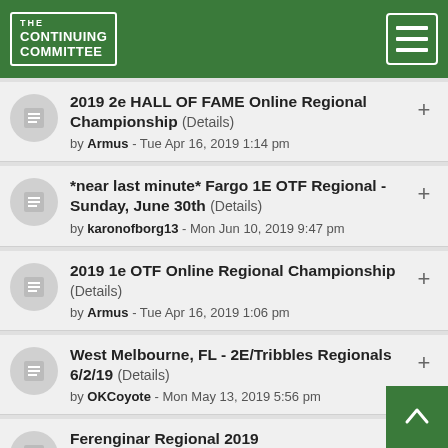The Continuing Committee
2019 2e HALL OF FAME Online Regional Championship (Details) by Armus - Tue Apr 16, 2019 1:14 pm
*near last minute* Fargo 1E OTF Regional - Sunday, June 30th (Details) by karonofborg13 - Mon Jun 10, 2019 9:47 pm
2019 1e OTF Online Regional Championship (Details) by Armus - Tue Apr 16, 2019 1:06 pm
West Melbourne, FL - 2E/Tribbles Regionals 6/2/19 (Details) by OKCoyote - Mon May 13, 2019 5:56 pm
Ferenginar Regional 2019 by Resistance-is-futile - Sun May 26, 2019 1:00 am